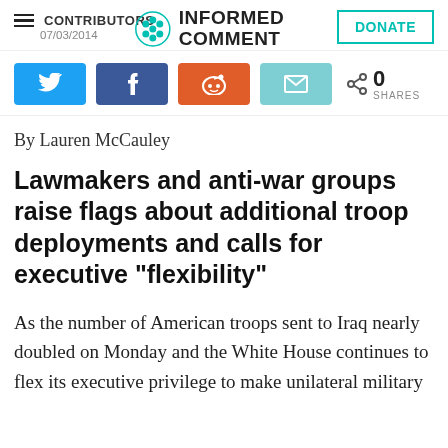CONTRIBUTORS | INFORMED COMMENT | 07/03/2014 | DONATE
[Figure (screenshot): Social share buttons: Twitter, Facebook, Reddit, Email, and a share count showing 0 SHARES]
By Lauren McCauley
Lawmakers and anti-war groups raise flags about additional troop deployments and calls for executive "flexibility"
As the number of American troops sent to Iraq nearly doubled on Monday and the White House continues to flex its executive privilege to make unilateral military